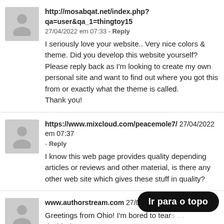http://mosabqat.net/index.php?qa=user&qa_1=thingtoy15 27/04/2022 em 07:33 - Reply
I seriously love your website.. Very nice colors & theme. Did you develop this website yourself? Please reply back as I'm looking to create my own personal site and want to find out where you got this from or exactly what the theme is called.
Thank you!
https://www.mixcloud.com/peacemole7/ 27/04/2022 em 07:37 - Reply
I know this web page provides quality depending articles or reviews and other material, is there any other web site which gives these stuff in quality?
www.authorstream.com 27/04/2022 em 07
Greetings from Ohio! I'm bored to tear...
decided to